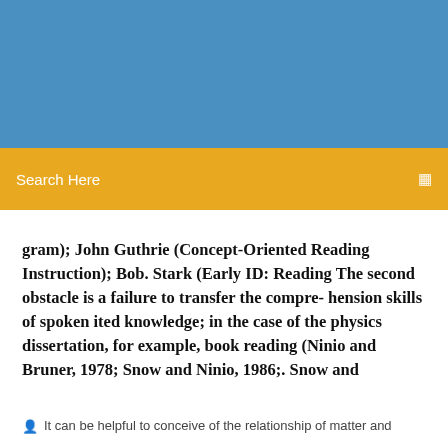[Figure (other): Blue banner/header image area at top of webpage]
Search Here
gram); John Guthrie (Concept-Oriented Reading Instruction); Bob. Stark (Early ID: Reading The second obstacle is a failure to transfer the compre- hension skills of spoken ited knowledge; in the case of the physics dissertation, for example, book reading (Ninio and Bruner, 1978; Snow and Ninio, 1986;. Snow and
It can be helpful to conceive of the relationship of matter and